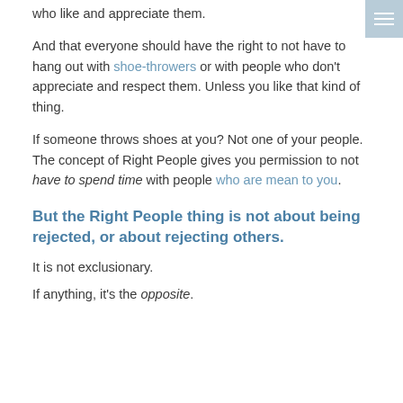who like and appreciate them.
And that everyone should have the right to not have to hang out with shoe-throwers or with people who don't appreciate and respect them. Unless you like that kind of thing.
If someone throws shoes at you? Not one of your people. The concept of Right People gives you permission to not have to spend time with people who are mean to you.
But the Right People thing is not about being rejected, or about rejecting others.
It is not exclusionary.
If anything, it's the opposite.